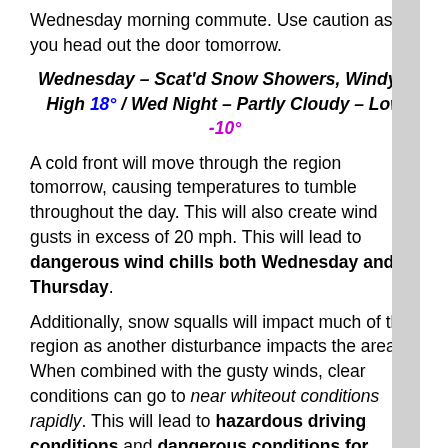Wednesday morning commute. Use caution as you head out the door tomorrow.
Wednesday – Scat'd Snow Showers, Windy – High 18° / Wed Night – Partly Cloudy – Low -10°
A cold front will move through the region tomorrow, causing temperatures to tumble throughout the day. This will also create wind gusts in excess of 20 mph. This will lead to dangerous wind chills both Wednesday and Thursday.
Additionally, snow squalls will impact much of the region as another disturbance impacts the area. When combined with the gusty winds, clear conditions can go to near whiteout conditions rapidly. This will lead to hazardous driving conditions and dangerous conditions for anyone outside. Bundle up before leaving the house at any point in time tomorrow!